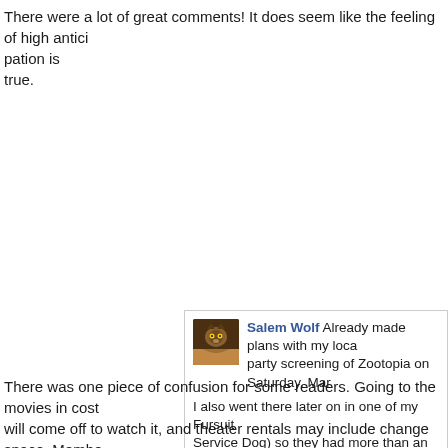There were a lot of great comments!  It does seem like the feeling of high anticipation is true.
[Figure (screenshot): A Facebook comment from Salem Wolf saying: 'Already made plans with my local... party screening of Zootopia on Saturday, Mar...' followed by: 'I also went there later on in one of my Fursuit... Service Dog) so they had more than an idea... the theater is looking forward to us being ther...']
There was one piece of confusion for some readers. Going to the movies in costu... will come off to watch it, and theater rentals may include change space. Membe... before and after, like a “crawl” around town.